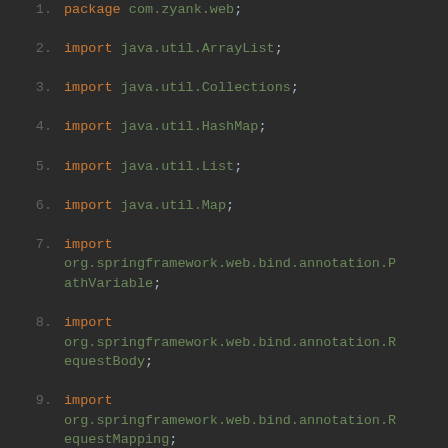[Figure (screenshot): Code editor screenshot showing Java import statements with syntax highlighting on dark background. Lines 1-13 visible. Keywords in red/orange, class names in green, package/class identifiers in default color.]